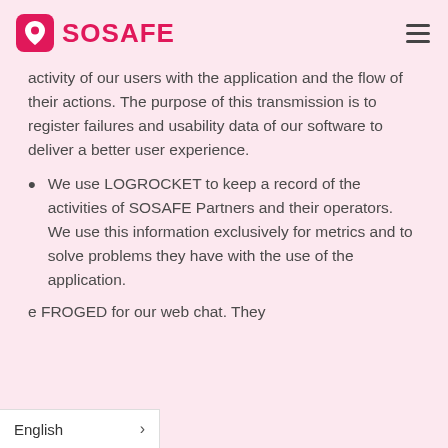SOSAFE
activity of our users with the application and the flow of their actions. The purpose of this transmission is to register failures and usability data of our software to deliver a better user experience.
We use LOGROCKET to keep a record of the activities of SOSAFE Partners and their operators. We use this information exclusively for metrics and to solve problems they have with the use of the application.
e FROGED for our web chat. They